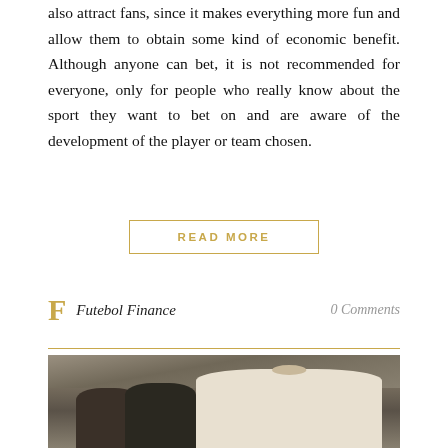also attract fans, since it makes everything more fun and allow them to obtain some kind of economic benefit. Although anyone can bet, it is not recommended for everyone, only for people who really know about the sport they want to bet on and are aware of the development of the player or team chosen.
READ MORE
F  Futebol Finance    0 Comments
[Figure (photo): Black and white photograph of football players in action on a pitch, crowd visible in background stands]